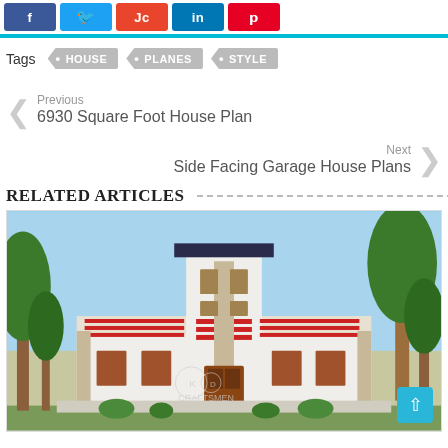[Figure (screenshot): Social media share buttons: Facebook (f), Twitter (bird), JC (red), LinkedIn (in), Pinterest (p)]
Tags  • HOUSE  • PLANES  • STYLE
Previous
6930 Square Foot House Plan
Next
Side Facing Garage House Plans
RELATED ARTICLES
[Figure (photo): Exterior rendering of a modern Kerala-style house with white walls, red horizontal railings, dark roof, and lush green trees on the sides.]